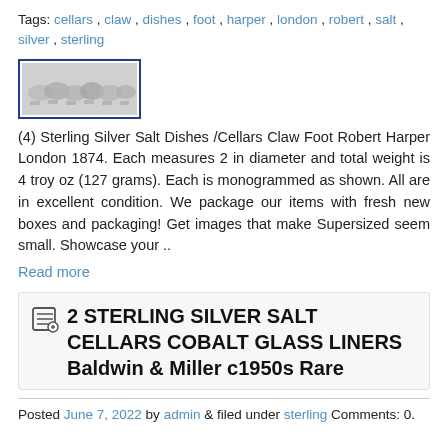Tags: cellars, claw, dishes, foot, harper, london, robert, salt, silver, sterling
[Figure (photo): Thumbnail photo of sterling silver salt dishes with claw feet, shown in a blue-bordered frame]
(4) Sterling Silver Salt Dishes /Cellars Claw Foot Robert Harper London 1874. Each measures 2 in diameter and total weight is 4 troy oz (127 grams). Each is monogrammed as shown. All are in excellent condition. We package our items with fresh new boxes and packaging! Get images that make Supersized seem small. Showcase your ..
Read more
2 STERLING SILVER SALT CELLARS COBALT GLASS LINERS Baldwin & Miller c1950s Rare
Posted June 7, 2022 by admin & filed under sterling Comments: 0.